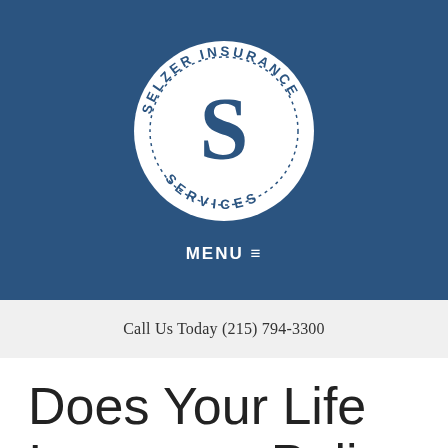[Figure (logo): Selzer Insurance Services circular logo with large 'S' monogram in center and text 'SELZER INSURANCE SERVICES' around the circle, white on dark blue background]
MENU ≡
Call Us Today (215) 794-3300
Does Your Life Insurance Policy